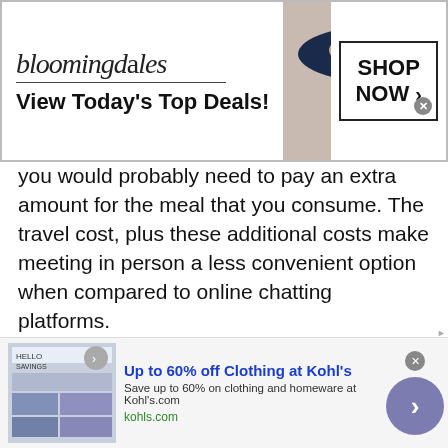[Figure (screenshot): Bloomingdales advertisement banner: logo text 'bloomingdales', tagline 'View Today's Top Deals!', woman with large hat, 'SHOP NOW >' button]
you would probably need to pay an extra amount for the meal that you consume. The travel cost, plus these additional costs make meeting in person a less convenient option when compared to online chatting platforms.
With our site, you do not need to pay for any travel costs. All you need is a stable Wi-Fi connection and a working device to log onto and join an Aruban Flirt Chat . Plus, there is no additional fees of registration since our site is absolutely free !
[Figure (screenshot): Kohl's advertisement banner: 'Up to 60% off Clothing at Kohl's', 'Save up to 60% on clothing and homeware at Kohl's.com', kohls.com, with store savings image and navigation arrow button]